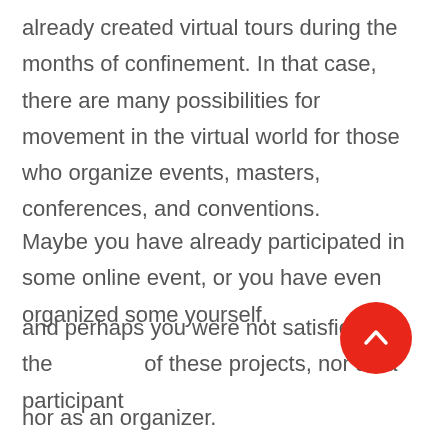already created virtual tours during the months of confinement. In that case, there are many possibilities for movement in the virtual world for those who organize events, masters, conferences, and conventions.
Maybe you have already participated in some online event, or you have even organized some yourself,
and perhaps you were not satisfied with the success of these projects, nor as a participant
nor as an organizer.